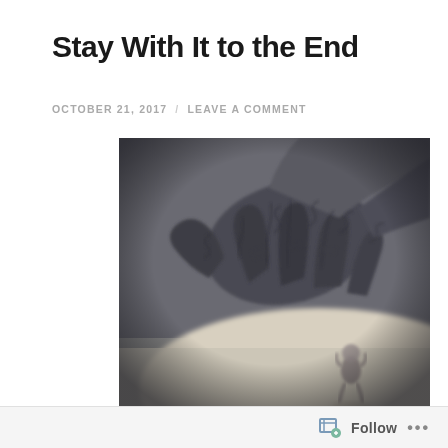Stay With It to the End
OCTOBER 21, 2017 / LEAVE A COMMENT
[Figure (photo): A dark, eerie photograph showing a large skeletal or gnarled hand reaching down from above toward a small human figure below, in black and white tones with a blurred, atmospheric quality.]
Follow ...